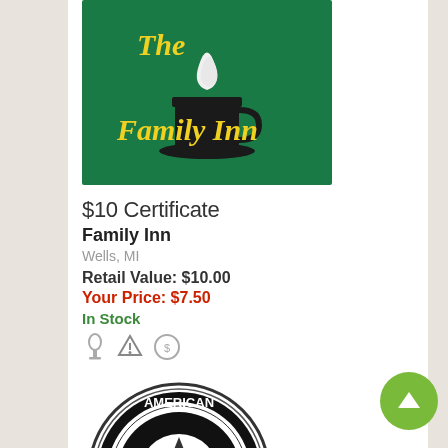[Figure (logo): The Family Inn logo — green background with yellow text 'The Family Inn' and a coffee cup with steam]
$10 Certificate
Family Inn
Wells, MI
Retail Value: $10.00
Your Price: $7.50
In Stock
[Figure (logo): American Legion emblem — circular black and white badge with 'AMERICAN LEGION' text and 'US' in center star design]
$10 Certificate for Food
American Cafe at Carney Legion